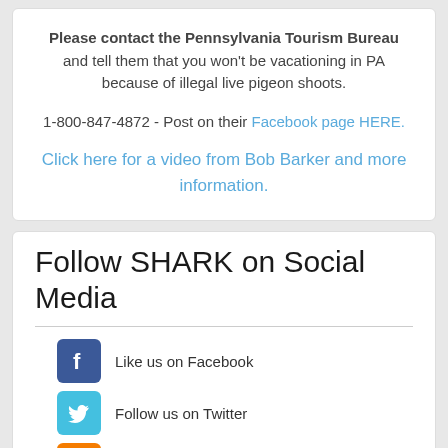Please contact the Pennsylvania Tourism Bureau and tell them that you won't be vacationing in PA because of illegal live pigeon shoots.
1-800-847-4872 - Post on their Facebook page HERE.
Click here for a video from Bob Barker and more information.
Follow SHARK on Social Media
Like us on Facebook
Follow us on Twitter
Read our Blog
Subscribe to our Channel